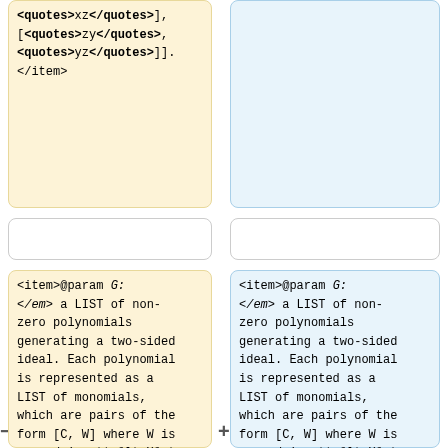<quotes>xz</quotes>], [<quotes>zy</quotes>, <quotes>yz</quotes>]].
</item>
<item>@param <em>G:</em> a LIST of non-zero polynomials generating a two-sided ideal. Each polynomial is represented as a LIST of monomials, which are pairs of the form [C, W] where W is a word in <tt>&lt;X&gt;</tt> and C is the coefficient of W. For example, the polynomial <tt>f=xy-y+1</tt> is represented as F:=[[1,
<item>@param <em>G:</em> a LIST of non-zero polynomials generating a two-sided ideal. Each polynomial is represented as a LIST of monomials, which are pairs of the form [C, W] where W is a word in <tt>&lt;X&gt;</tt> and C is the coefficient of W. For example, the polynomial <tt>f=xy-y+1</tt> is represented as F:=